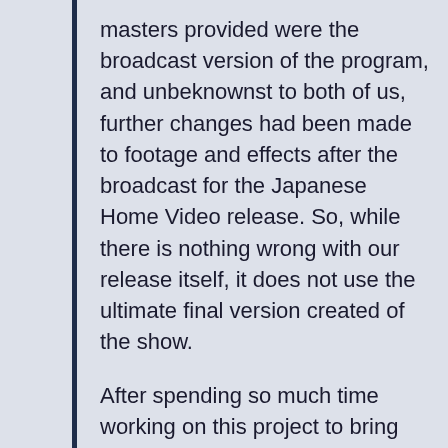masters provided were the broadcast version of the program, and unbeknownst to both of us, further changes had been made to footage and effects after the broadcast for the Japanese Home Video release. So, while there is nothing wrong with our release itself, it does not use the ultimate final version created of the show.

After spending so much time working on this project to bring this program to the fans, we were truly dismayed when this came to light to us at the time...